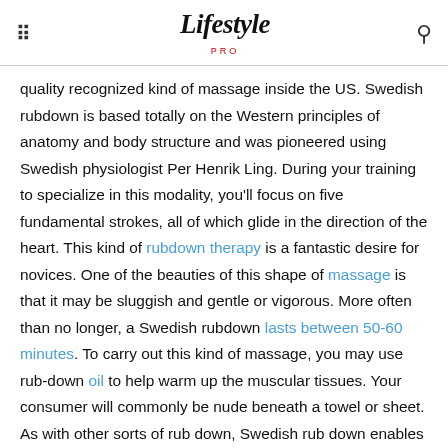Lifestyle PRO
quality recognized kind of massage inside the US. Swedish rubdown is based totally on the Western principles of anatomy and body structure and was pioneered using Swedish physiologist Per Henrik Ling. During your training to specialize in this modality, you'll focus on five fundamental strokes, all of which glide in the direction of the heart. This kind of rubdown therapy is a fantastic desire for novices. One of the beauties of this shape of massage is that it may be sluggish and gentle or vigorous. More often than no longer, a Swedish rubdown lasts between 50-60 minutes. To carry out this kind of massage, you may use rub-down oil to help warm up the muscular tissues. Your consumer will commonly be nude beneath a towel or sheet. As with other sorts of rub down, Swedish rub down enables to sell rest.
Deep Tissue Massage. Deep tissue rubdown is a style of